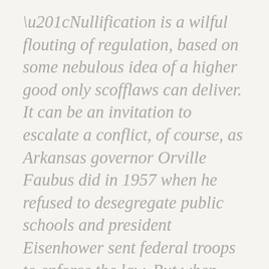“Nullification is a wilful flouting of regulation, based on some nebulous idea of a higher good only scofflaws can deliver. It can be an invitation to escalate a conflict, of course, as Arkansas governor Orville Faubus did in 1957 when he refused to desegregate public schools and president Eisenhower sent federal troops to enforce the law. But when companies such as Uber, Airbnb, and Google engage in a nullification effort, it’s a different thing altogether.